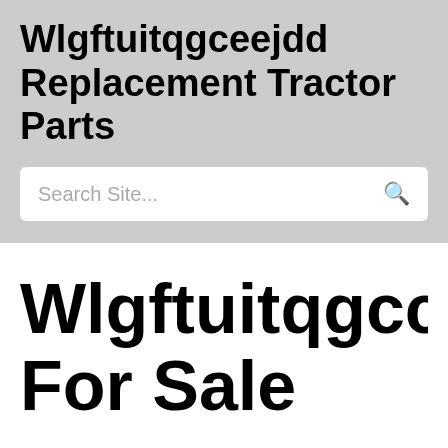Wlgftuitqgceejdd Replacement Tractor Parts
Search Site...
Wlgftuitqgcce For Sale